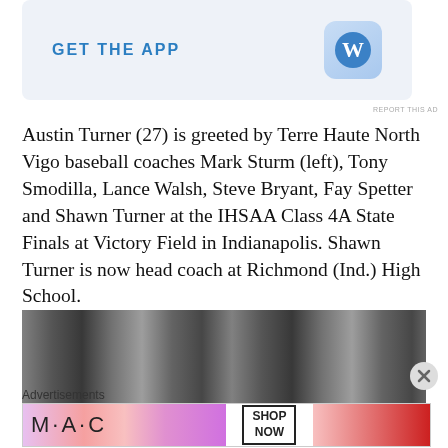[Figure (screenshot): Advertisement banner with 'GET THE APP' text in blue and a WordPress app icon on a light blue background]
REPORT THIS AD
Austin Turner (27) is greeted by Terre Haute North Vigo baseball coaches Mark Sturm (left), Tony Smodilla, Lance Walsh, Steve Bryant, Fay Spetter and Shawn Turner at the IHSAA Class 4A State Finals at Victory Field in Indianapolis. Shawn Turner is now head coach at Richmond (Ind.) High School.
[Figure (photo): Black and white photo of people wearing baseball caps, viewed from below]
Advertisements
[Figure (screenshot): MAC cosmetics advertisement showing lipsticks with SHOP NOW box]